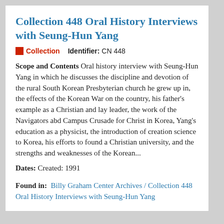Collection 448 Oral History Interviews with Seung-Hun Yang
Collection   Identifier: CN 448
Scope and Contents Oral history interview with Seung-Hun Yang in which he discusses the discipline and devotion of the rural South Korean Presbyterian church he grew up in, the effects of the Korean War on the country, his father's example as a Christian and lay leader, the work of the Navigators abd Campus Crusade for Christ in Korea, Yang's education as a physicist, the introduction of creation science to Korea, his efforts to found a Christian university, and the strengths and weaknesses of the Korean...
Dates: Created: 1991
Found in:  Billy Graham Center Archives / Collection 448 Oral History Interviews with Seung-Hun Yang